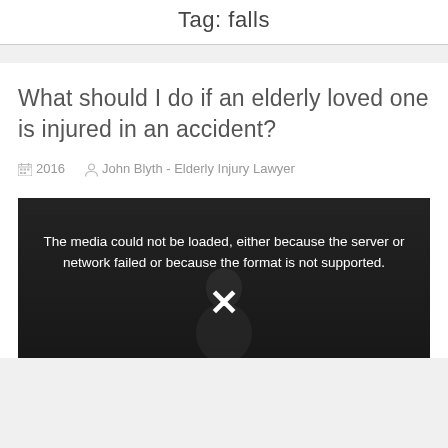Tag: falls
What should I do if an elderly loved one is injured in an accident?
2016   John Blyth - Elderly Injury Lawyer
[Figure (screenshot): Video player with error message: The media could not be loaded, either because the server or network failed or because the format is not supported. Displays an X symbol over a dark background showing a person.]